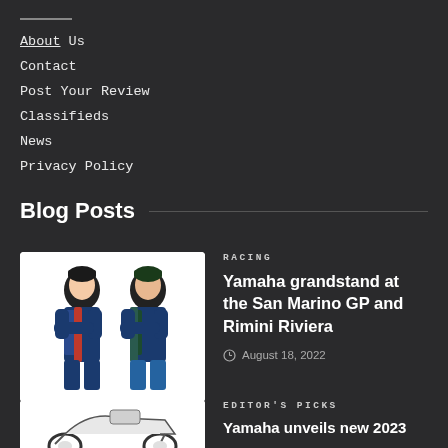About Us
Contact
Post Your Review
Classifieds
News
Privacy Policy
Blog Posts
[Figure (photo): Two Yamaha motorcycle racers in team gear posing with arms crossed on white background]
RACING
Yamaha grandstand at the San Marino GP and Rimini Riviera
August 18, 2022
[Figure (photo): Yamaha motorcycle on white background, partial view]
EDITOR'S PICKS
Yamaha unveils new 2023